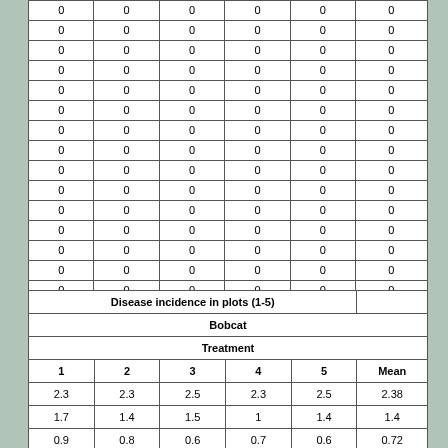|  |  |  |  |  |  |
| --- | --- | --- | --- | --- | --- |
| 0 | 0 | 0 | 0 | 0 | 0 |
| 0 | 0 | 0 | 0 | 0 | 0 |
| 0 | 0 | 0 | 0 | 0 | 0 |
| 0 | 0 | 0 | 0 | 0 | 0 |
| 0 | 0 | 0 | 0 | 0 | 0 |
| 0 | 0 | 0 | 0 | 0 | 0 |
| 0 | 0 | 0 | 0 | 0 | 0 |
| 0 | 0 | 0 | 0 | 0 | 0 |
| 0 | 0 | 0 | 0 | 0 | 0 |
| 0 | 0 | 0 | 0 | 0 | 0 |
| 0 | 0 | 0 | 0 | 0 | 0 |
| 0 | 0 | 0 | 0 | 0 | 0 |
| 0 | 0 | 0 | 0 | 0 | 0 |
| 0 | 0 | 0 | 0 | 0 | 0 |
| 0 | 0 | 0 | 0 | 0 | 0 |
| 0 | 0 | 0 | 0 | 0 | 0 |
| 0 | 0 | 0 | 0 | 0 | 0 |
| 0 | 0 | 0 | 0 | 0 | 0 |
| 0 | 0 | 0 | 0 | 0 | 0 |
|  |  |  |  |  |  |
|  |  |  |  |  | 0 |
| 1 | 2 | 3 | 4 | 5 | Mean |
| --- | --- | --- | --- | --- | --- |
| 2.3 | 2.3 | 2.5 | 2.3 | 2.5 | 2.38 |
| 1.7 | 1.4 | 1.5 | 1 | 1.4 | 1.4 |
| 0.9 | 0.8 | 0.6 | 0.7 | 0.6 | 0.72 |